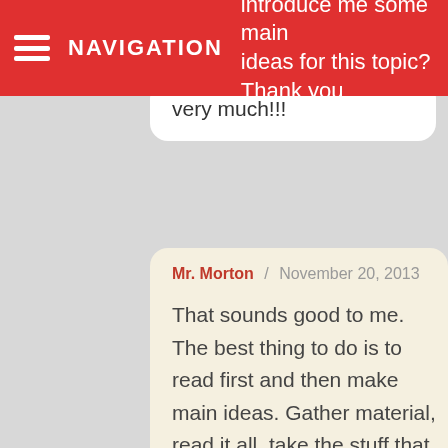NAVIGATION
introduce me some main ideas for this topic? Thank you very much!!!
Mr. Morton / November 20, 2013

That sounds good to me. The best thing to do is to read first and then make main ideas. Gather material, read it all, take the stuff that you like and find interesting, and rephrase it in a way